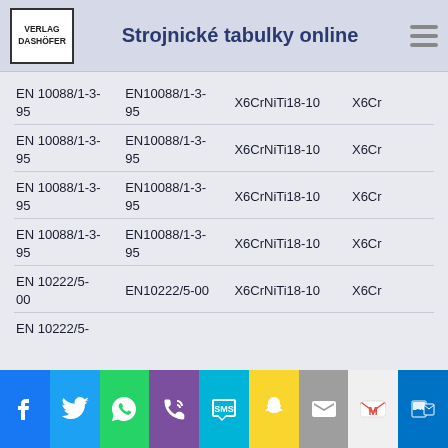Strojnické tabulky online
| Col1 | Col2 | Col3 | Col4 |
| --- | --- | --- | --- |
| EN 10088/1-3-95 | EN10088/1-3-95 | X6CrNiTi18-10 | X6Cr |
| EN 10088/1-3-95 | EN10088/1-3-95 | X6CrNiTi18-10 | X6Cr |
| EN 10088/1-3-95 | EN10088/1-3-95 | X6CrNiTi18-10 | X6Cr |
| EN 10088/1-3-95 | EN10088/1-3-95 | X6CrNiTi18-10 | X6Cr |
| EN 10222/5-00 | EN10222/5-00 | X6CrNiTi18-10 | X6Cr |
| EN 10222/5- |  |  |  |